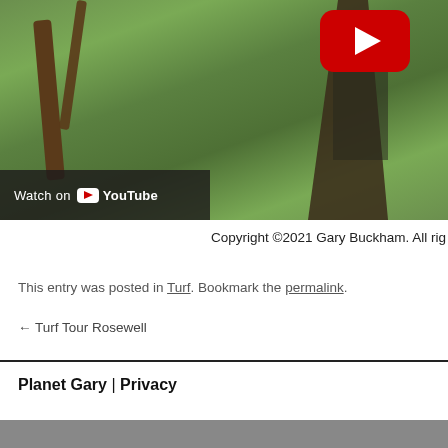[Figure (screenshot): YouTube video thumbnail showing a mountain biker riding on a grassy trail with trees. A red YouTube play button is visible in the top right. A 'Watch on YouTube' bar appears at the bottom left of the image.]
Copyright ©2021 Gary Buckham. All rights reserved.
This entry was posted in Turf. Bookmark the permalink.
← Turf Tour Rosewell
Planet Gary  |  Privacy